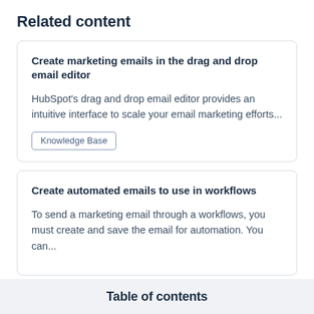Related content
Create marketing emails in the drag and drop email editor
HubSpot's drag and drop email editor provides an intuitive interface to scale your email marketing efforts...
Knowledge Base
Create automated emails to use in workflows
To send a marketing email through a workflows, you must create and save the email for automation. You can...
Table of contents